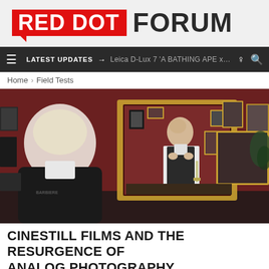[Figure (logo): Red Dot Forum logo: RED DOT in white text on red rectangle with speech bubble tail, followed by FORUM in dark bold text]
LATEST UPDATES → Leica D-Lux 7 'A BATHING APE x …
Home > Field Tests
[Figure (photo): A bald man in a white shirt and dark vest adjusting his tie/collar in front of an ornate gold mirror in a room with red walls covered in framed photographs and artwork]
CINESTILL FILMS AND THE RESURGENCE OF ANALOG PHOTOGRAPHY